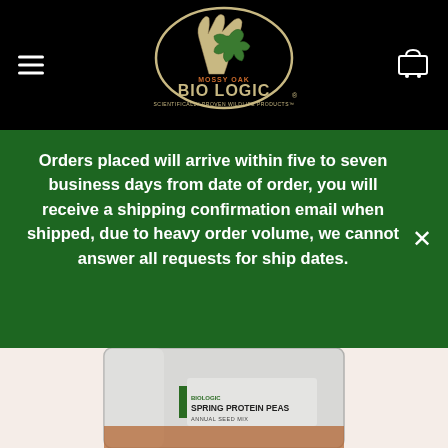[Figure (logo): Mossy Oak BioLogic logo – deer antler with oak leaf, green and cream colors on black background, text: MOSSY OAK BIO LOGIC SCIENTIFICALLY PROVEN WILDLIFE PRODUCTS]
Orders placed will arrive within five to seven business days from date of order, you will receive a shipping confirmation email when shipped, due to heavy order volume, we cannot answer all requests for ship dates.
[Figure (photo): Partially visible product package: BioLogic Spring Protein Peas seed bag, silver/white resealable pouch with green and orange label]